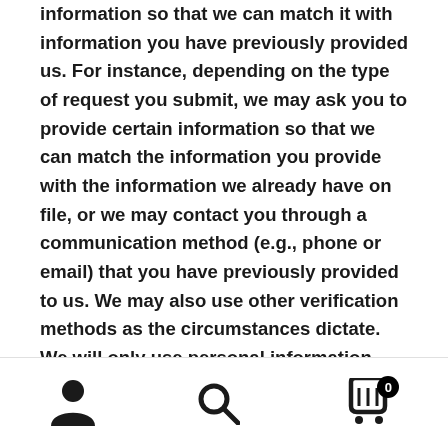information so that we can match it with information you have previously provided us. For instance, depending on the type of request you submit, we may ask you to provide certain information so that we can match the information you provide with the information we already have on file, or we may contact you through a communication method (e.g., phone or email) that you have previously provided to us. We may also use other verification methods as the circumstances dictate. We will only use personal information provided in your request to verify your identity or authority to make the request. To the extent possible, we will avoid requesting additional information from you for
[navigation bar with person, search, and cart icons]